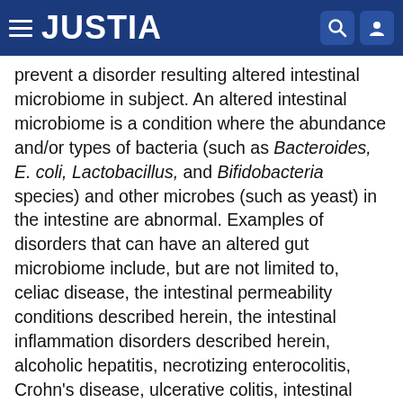JUSTIA
prevent a disorder resulting altered intestinal microbiome in subject. An altered intestinal microbiome is a condition where the abundance and/or types of bacteria (such as Bacteroides, E. coli, Lactobacillus, and Bifidobacteria species) and other microbes (such as yeast) in the intestine are abnormal. Examples of disorders that can have an altered gut microbiome include, but are not limited to, celiac disease, the intestinal permeability conditions described herein, the intestinal inflammation disorders described herein, alcoholic hepatitis, necrotizing enterocolitis, Crohn's disease, ulcerative colitis, intestinal lesions (such as those in a cystic fibrosis patient), cirrhosis, or any combination thereof. In some embodiments, the method further includes administering a therapeutically effective amount of another therapeutic agent (such as a fecal microbiota transplant, immunosuppressant,